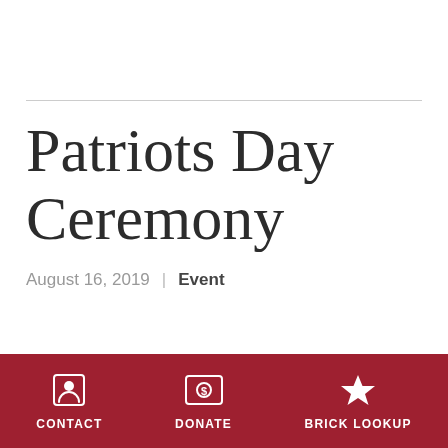Patriots Day Ceremony
August 16, 2019  |  Event
CONTACT  DONATE  BRICK LOOKUP